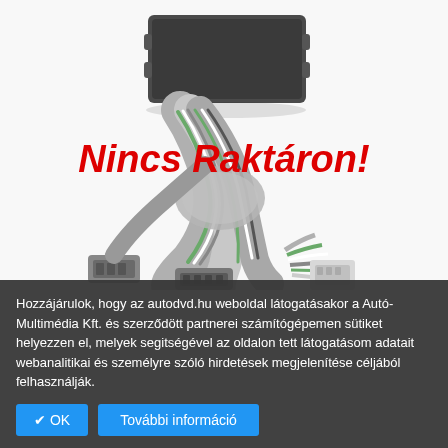[Figure (photo): Product photo of a small black rectangular electronic module/box with wiring harness and multi-colored connectors below, with 'Nincs Raktáron!' (Out of Stock) text overlay in bold red italic]
Hozzájárulok, hogy az autodvd.hu weboldal látogatásakor a Autó-Multimédia Kft. és szerződött partnerei számítógépemen sütiket helyezzen el, melyek segitségével az oldalon tett látogatásom adatait webanalitikai és személyre szóló hirdetések megjelenítése céljából felhasználják.
✔ OK
További információ